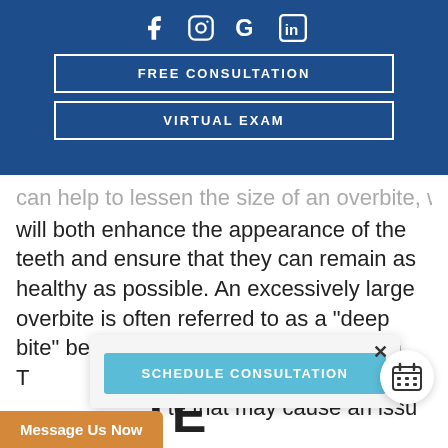[Figure (infographic): Blue navigation bar with social media icons (Facebook, Instagram, Google, LinkedIn) and two outlined buttons: FREE CONSULTATION and VIRTUAL EXAM]
can help to lessen the size of an overbite, which will both enhance the appearance of the teeth and ensure that they can remain as healthy as possible. An excessively large overbite is often referred to as a "deep bite" because overbites are so common. T...e between a regula...te that may cause an issu...
[Figure (screenshot): Popup dialog with X close button and a teal SCHEDULE CONSULTATION button]
[Figure (infographic): Floating circular calendar icon button]
Message Us Now
TE